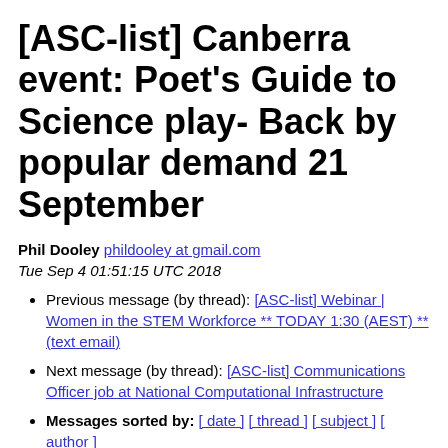[ASC-list] Canberra event: Poet's Guide to Science play- Back by popular demand 21 September
Phil Dooley phildooley at gmail.com
Tue Sep 4 01:51:15 UTC 2018
Previous message (by thread): [ASC-list] Webinar | Women in the STEM Workforce ** TODAY 1:30 (AEST) ** (text email)
Next message (by thread): [ASC-list] Communications Officer job at National Computational Infrastructure
Messages sorted by: [ date ] [ thread ] [ subject ] [ author ]
Back by popular demand: Poet's Guide to Science - A Scept
Hope you can come along!
Cy visits his doctor hoping for a cure for his loss of fa
The Doc is not interested, but soon the two embark on a t
the truth. Although it's a fictional story, the charact